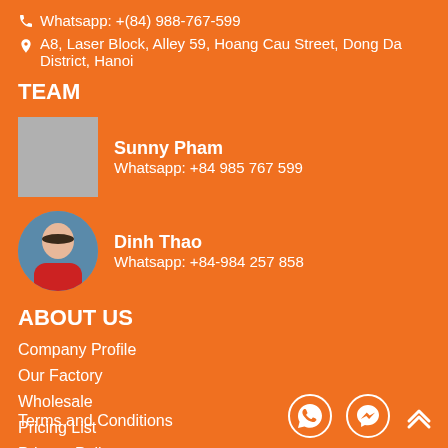Whatsapp: +(84) 988-767-599
A8, Laser Block, Alley 59, Hoang Cau Street, Dong Da District, Hanoi
TEAM
Sunny Pham
Whatsapp: +84 985 767 599
Dinh Thao
Whatsapp: +84-984 257 858
ABOUT US
Company Profile
Our Factory
Wholesale
Pricing List
Privacy Policy
Terms and Conditions